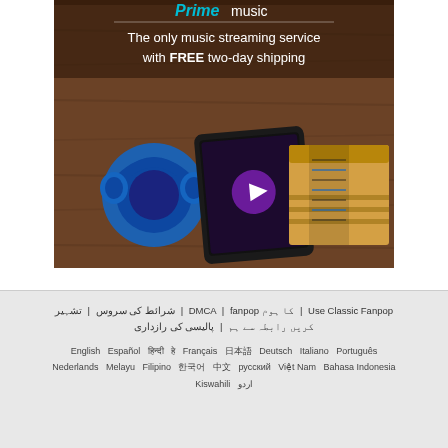[Figure (photo): Amazon Prime Music advertisement showing blue headphones, a tablet displaying music app, and an Amazon shipping box on a wooden floor. Text reads 'Prime music - The only music streaming service with FREE two-day shipping']
شرائط کی سروس | تشہیر | DMCA | fanpop کا ہوم | Use Classic Fanpop | کریں رابطہ سے ہم | پالیسی کی رازداری
English   Español   हिन्दी   हे   Français   日本語   Deutsch   Italiano   Português   Nederlands   Melayu   Filipino   한국어   中文   русский   Việt Nam   Bahasa Indonesia   Kiswahili   اردو